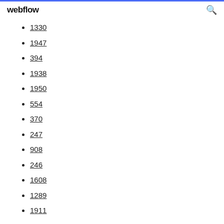webflow
1330
1947
394
1938
1950
554
370
247
908
246
1608
1289
1911